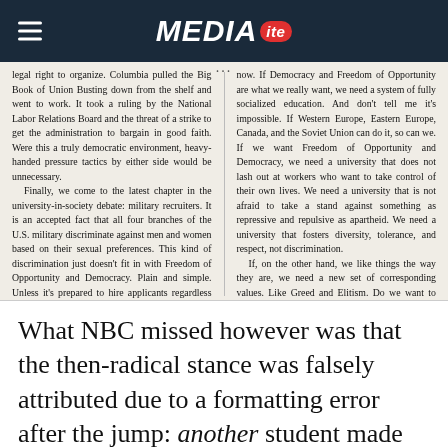MEDIAITE
[Figure (screenshot): Scanned newspaper clipping showing two-column text about union organizing, military recruiters, and socialized education, with partial visible text on both columns.]
What NBC missed however was that the then-radical stance was falsely attributed due to a formatting error after the jump: another student made that argument, while the tail-end of Gorsuch’s op-ed was likewise attributed to the other student. The next day, The